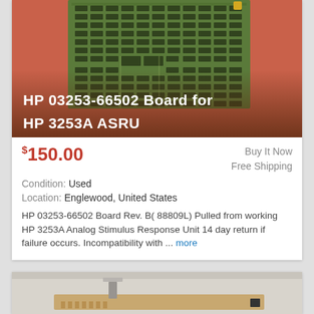[Figure (photo): Photo of HP 03253-66502 circuit board (green PCB with many chips) on orange/salmon background. White text overlay reads 'HP 03253-66502 Board for HP 3253A ASRU']
$150.00
Buy It Now
Free Shipping
Condition: Used
Location: Englewood, United States
HP 03253-66502 Board Rev. B( 88809L) Pulled from working HP 3253A Analog Stimulus Response Unit 14 day return if failure occurs. Incompatibility with ... more
[Figure (photo): Partial photo of a second circuit board/card item, gray/beige PCB visible at bottom of page]